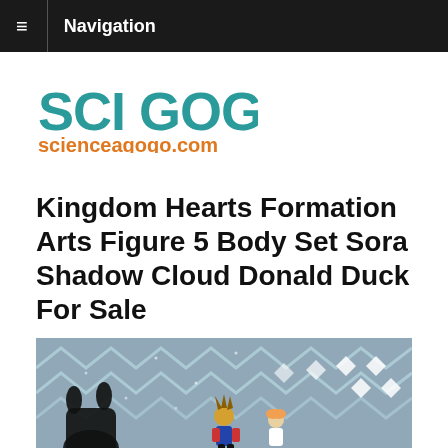≡ Navigation
[Figure (logo): SCI GOGO scienceagogo.com logo with teal/cyan SCI GOGO text and orange scienceagogo.com URL]
Kingdom Hearts Formation Arts Figure 5 Body Set Sora Shadow Cloud Donald Duck For Sale
[Figure (photo): Photo of Kingdom Hearts Formation Arts figures displayed against a blue patterned background with white zigzag and diamond shapes, showing small anime figurines]